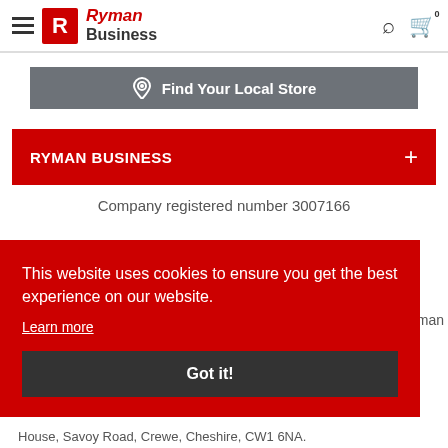[Figure (logo): Ryman Business logo with red R square, italic Ryman in red, Business in dark gray]
Find Your Local Store
RYMAN BUSINESS
Company registered number 3007166
This website uses cookies to ensure you get the best experience on our website.
Learn more
Got it!
House, Savoy Road, Crewe, Cheshire, CW1 6NA.